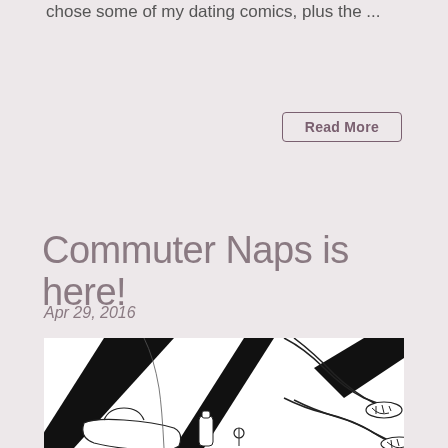chose some of my dating comics, plus the ...
Read More
Commuter Naps is here!
Apr 29, 2016
[Figure (illustration): Line drawing illustration of a woman napping/resting on a commuter train or transit, shown from mid-body down with sandaled feet, wearing a skirt, with a large bag on the floor containing items including a baby bottle.]